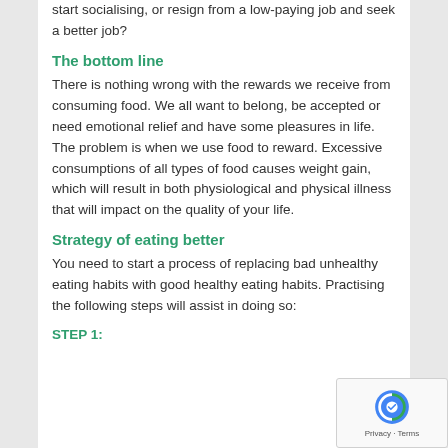start socialising, or resign from a low-paying job and seek a better job?
The bottom line
There is nothing wrong with the rewards we receive from consuming food. We all want to belong, be accepted or need emotional relief and have some pleasures in life. The problem is when we use food to reward. Excessive consumptions of all types of food causes weight gain, which will result in both physiological and physical illness that will impact on the quality of your life.
Strategy of eating better
You need to start a process of replacing bad unhealthy eating habits with good healthy eating habits. Practising the following steps will assist in doing so:
STEP 1: ...